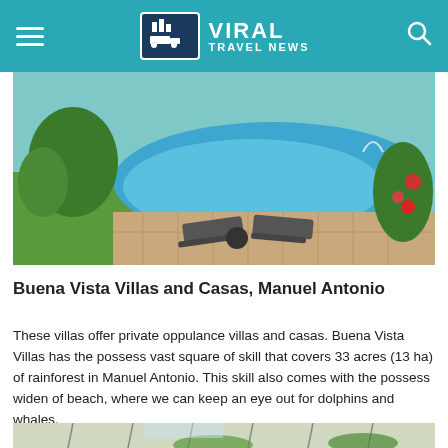VIRAL TRAVEL NEWS
[Figure (photo): Outdoor swimming pool with lounge chairs on a stone patio, surrounded by tropical plants and flowers]
Buena Vista Villas and Casas, Manuel Antonio
These villas offer private oppulance villas and casas. Buena Vista Villas has the possess vast square of skill that covers 33 acres (13 ha) of rainforest in Manuel Antonio. This skill also comes with the possess widen of beach, where we can keep an eye out for dolphins and whales.
[Figure (photo): Partial view of another outdoor scene with tropical vegetation, partially cropped at bottom of page]